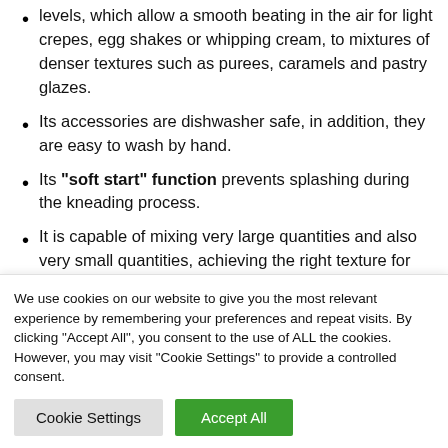levels, which allow a smooth beating in the air for light crepes, egg shakes or whipping cream, to mixtures of denser textures such as purees, caramels and pastry glazes.
Its accessories are dishwasher safe, in addition, they are easy to wash by hand.
Its “soft start” function prevents splashing during the kneading process.
It is capable of mixing very large quantities and also very small quantities, achieving the right texture for both.
We use cookies on our website to give you the most relevant experience by remembering your preferences and repeat visits. By clicking “Accept All”, you consent to the use of ALL the cookies. However, you may visit "Cookie Settings" to provide a controlled consent.